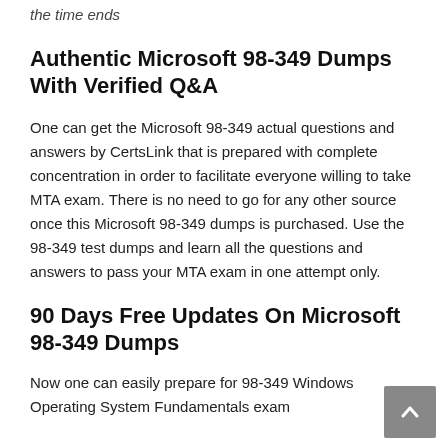the time ends
Authentic Microsoft 98-349 Dumps With Verified Q&A
One can get the Microsoft 98-349 actual questions and answers by CertsLink that is prepared with complete concentration in order to facilitate everyone willing to take MTA exam. There is no need to go for any other source once this Microsoft 98-349 dumps is purchased. Use the 98-349 test dumps and learn all the questions and answers to pass your MTA exam in one attempt only.
90 Days Free Updates On Microsoft 98-349 Dumps
Now one can easily prepare for 98-349 Windows Operating System Fundamentals exam